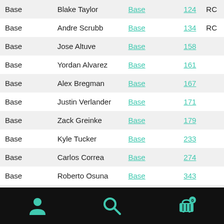|  | Name | Type | Num | Tag |
| --- | --- | --- | --- | --- |
| Base | Blake Taylor | Base | 124 | RC |
| Base | Andre Scrubb | Base | 134 | RC |
| Base | Jose Altuve | Base | 158 |  |
| Base | Yordan Alvarez | Base | 161 |  |
| Base | Alex Bregman | Base | 167 |  |
| Base | Justin Verlander | Base | 171 |  |
| Base | Zack Greinke | Base | 179 |  |
| Base | Kyle Tucker | Base | 233 |  |
| Base | Carlos Correa | Base | 274 |  |
| Base | Roberto Osuna | Base | 343 |  |
| Base | Yuli Gurriel | Base | 391 |  |
| Base | Josh Reddick | Base | 403 |  |
| Base | Lance McCullers | Base | 404 |  |
[Figure (other): Dark bottom navigation bar with three teal icons: person/user icon on the left, search/magnifier icon in the center, shopping cart with badge '0' on the right.]